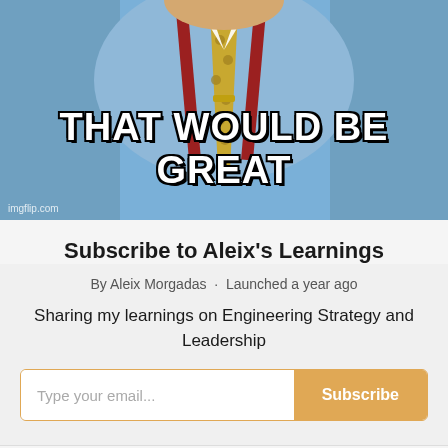[Figure (photo): Meme image of a man in a blue shirt and patterned tie with red suspenders, with bold white text reading 'THAT WOULD BE GREAT' and watermark 'imgflip.com']
Subscribe to Aleix's Learnings
By Aleix Morgadas · Launched a year ago
Sharing my learnings on Engineering Strategy and Leadership
Type your email... Subscribe
Like   Comment   Share